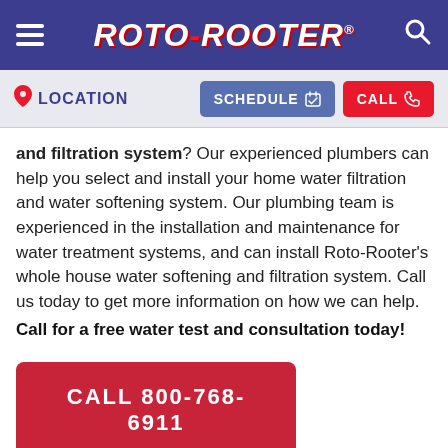ROTO-ROOTER
LOCATION | SCHEDULE | CALL
and filtration system? Our experienced plumbers can help you select and install your home water filtration and water softening system. Our plumbing team is experienced in the installation and maintenance for water treatment systems, and can install Roto-Rooter's whole house water softening and filtration system. Call us today to get more information on how we can help.
Call for a free water test and consultation today!
CALL 800-768-6911